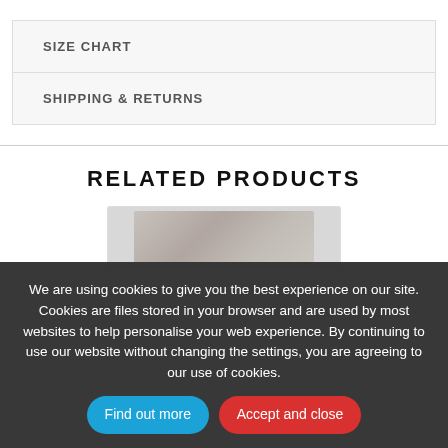SIZE CHART
SHIPPING & RETURNS
RELATED PRODUCTS
[Figure (photo): Partial product image visible below related products header, mostly obscured by cookie banner]
We are using cookies to give you the best experience on our site. Cookies are files stored in your browser and are used by most websites to help personalise your web experience. By continuing to use our website without changing the settings, you are agreeing to our use of cookies.
Find out more
Accept and close